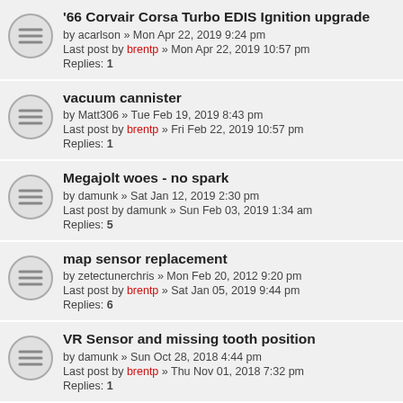'66 Corvair Corsa Turbo EDIS Ignition upgrade by acarlson » Mon Apr 22, 2019 9:24 pm Last post by brentp » Mon Apr 22, 2019 10:57 pm Replies: 1
vacuum cannister by Matt306 » Tue Feb 19, 2019 8:43 pm Last post by brentp » Fri Feb 22, 2019 10:57 pm Replies: 1
Megajolt woes - no spark by damunk » Sat Jan 12, 2019 2:30 pm Last post by damunk » Sun Feb 03, 2019 1:34 am Replies: 5
map sensor replacement by zetectunerchris » Mon Feb 20, 2012 9:20 pm Last post by brentp » Sat Jan 05, 2019 9:44 pm Replies: 6
VR Sensor and missing tooth position by damunk » Sun Oct 28, 2018 4:44 pm Last post by brentp » Thu Nov 01, 2018 7:32 pm Replies: 1
No VRef Power